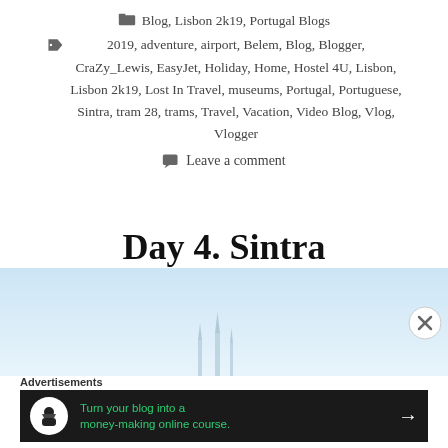Blog, Lisbon 2k19, Portugal Blogs
2019, adventure, airport, Belem, Blog, Blogger, CraZy_Lewis, EasyJet, Holiday, Home, Hostel 4U, Lisbon, Lisbon 2k19, Lost In Travel, museums, Portugal, Portuguese, Sintra, tram 28, trams, Travel, Vacation, Video Blog, Vlog, Vlogger
Leave a comment
Day 4. Sintra
[Figure (photo): Light blue sky background with faint castle/palace spire silhouettes at the bottom center, partial image cut off]
Advertisements
[Figure (infographic): Black advertisement banner: circle icon with person/graduation cap, green text 'Turn your blog into a money-making online course.' with white arrow on right]